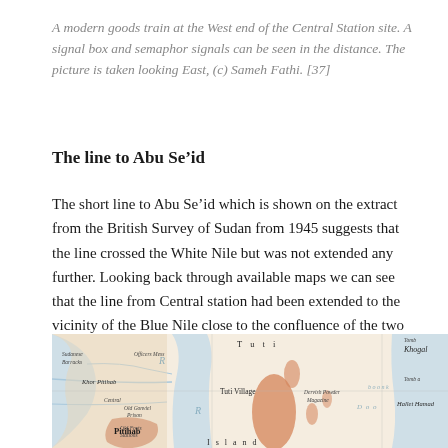A modern goods train at the West end of the Central Station site. A signal box and semaphor signals can be seen in the distance. The picture is taken looking East, (c) Sameh Fathi. [37]
The line to Abu Se’id
The short line to Abu Se’id which is shown on the extract from the British Survey of Sudan from 1945 suggests that the line crossed the White Nile but was not extended any further. Looking back through available maps we can see that the line from Central station had been extended to the vicinity of the Blue Nile close to the confluence of the two rivers.
[Figure (map): Extract from British Survey of Sudan 1945 map showing the Tuti Island area near Khartoum, with the White Nile, Tuti Village, Pitihab, Khor Pitihab, Central Prison, Old Forts, Old Gonviel, Dervish Powder Magazine, Hallet Hamad, Khogal, and other landmarks labeled. The map shows blue river/water features and orange/tan land areas.]